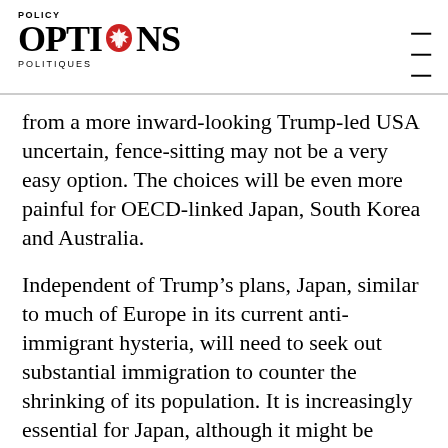POLICY OPTIONS POLITIQUES
from a more inward-looking Trump-led USA uncertain, fence-sitting may not be a very easy option. The choices will be even more painful for OECD-linked Japan, South Korea and Australia.
Independent of Trump's plans, Japan, similar to much of Europe in its current anti-immigrant hysteria, will need to seek out substantial immigration to counter the shrinking of its population. It is increasingly essential for Japan, although it might be culturally painful, to have more person-power to sustain a strong economy. It will